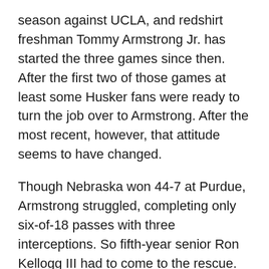season against UCLA, and redshirt freshman Tommy Armstrong Jr. has started the three games since then. After the first two of those games at least some Husker fans were ready to turn the job over to Armstrong. After the most recent, however, that attitude seems to have changed.
Though Nebraska won 44-7 at Purdue, Armstrong struggled, completing only six-of-18 passes with three interceptions. So fifth-year senior Ron Kellogg III had to come to the rescue.
“Ronnie’s seen it all,” offensive coordinator Tim Beck said afterward. “He’s been through